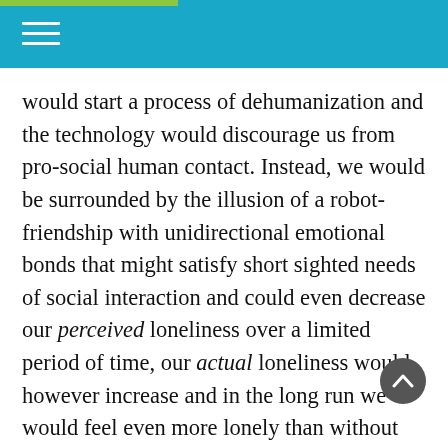would start a process of dehumanization and the technology would discourage us from pro-social human contact. Instead, we would be surrounded by the illusion of a robot-friendship with unidirectional emotional bonds that might satisfy short sighted needs of social interaction and could even decrease our perceived loneliness over a limited period of time, our actual loneliness would however increase and in the long run we would feel even more lonely than without the robot companion. This is even riskier for companions of romantic variety, which can already be seen on the horizon. A different scenario, especially relevant for elderly people, would be that the application of